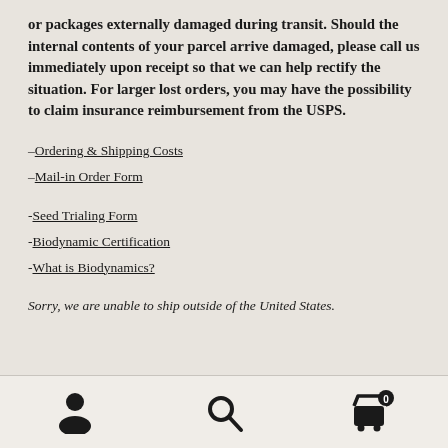or packages externally damaged during transit. Should the internal contents of your parcel arrive damaged, please call us immediately upon receipt so that we can help rectify the situation. For larger lost orders, you may have the possibility to claim insurance reimbursement from the USPS.
–Ordering & Shipping Costs
–Mail-in Order Form
-Seed Trialing Form
-Biodynamic Certification
-What is Biodynamics?
Sorry, we are unable to ship outside of the United States.
[navigation icons: user, search, cart]